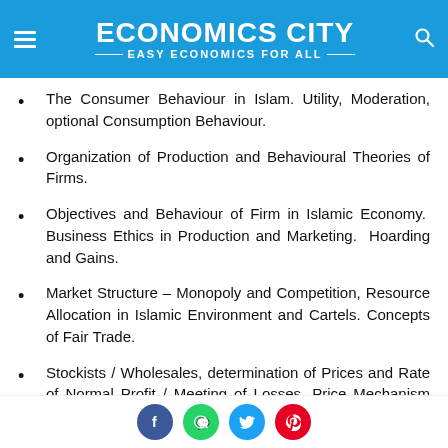ECONOMICS CITY — EASY ECONOMICS FOR ALL
The Consumer Behaviour in Islam. Utility, Moderation, optional Consumption Behaviour.
Organization of Production and Behavioural Theories of Firms.
Objectives and Behaviour of Firm in Islamic Economy. Business Ethics in Production and Marketing. Hoarding and Gains.
Market Structure – Monopoly and Competition, Resource Allocation in Islamic Environment and Cartels. Concepts of Fair Trade.
Stockists / Wholesales, determination of Prices and Rate of Normal Profit / Meeting of Losses. Price Mechanism and State Role in Regulation
Social share buttons: Facebook, WhatsApp, Twitter, Pinterest